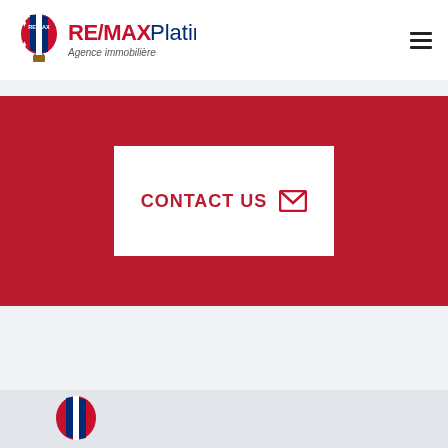[Figure (logo): RE/MAX Platine logo with hot air balloon icon and text 'RE/MAX Platine Agence immobilière']
[Figure (other): Hamburger menu icon (three horizontal lines)]
CONTACT US
[Figure (other): RE/MAX red balloon logo at bottom]